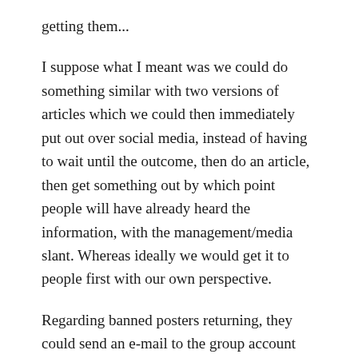getting them...
I suppose what I meant was we could do something similar with two versions of articles which we could then immediately put out over social media, instead of having to wait until the outcome, then do an article, then get something out by which point people will have already heard the information, with the management/media slant. Whereas ideally we would get it to people first with our own perspective.
Regarding banned posters returning, they could send an e-mail to the group account which we would then consider as a collective. Cheers